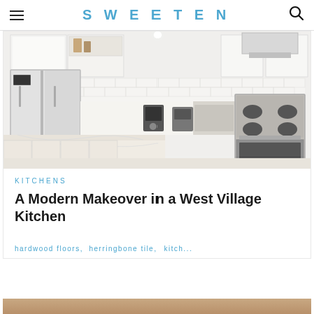SWEETEN
[Figure (photo): Modern white kitchen with stainless steel refrigerator, white shaker cabinets, marble countertops, gas range, and kitchen appliances on counter]
KITCHENS
A Modern Makeover in a West Village Kitchen
hardwood floors,  herringbone tile,  kitch...